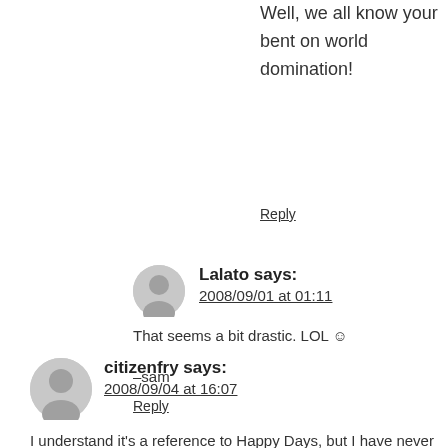Well, we all know your bent on world domination!
Reply
Lalato says:
2008/09/01 at 01:11
That seems a bit drastic. LOL ☺

–sam
Reply
citizenfry says:
2008/09/04 at 16:07
I understand it's a reference to Happy Days, but I have never actually seen an episode.